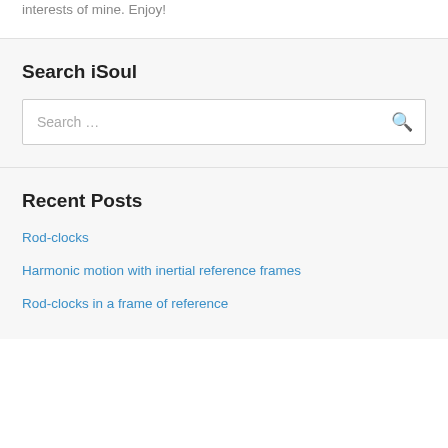interests of mine. Enjoy!
Search iSoul
Search …
Recent Posts
Rod-clocks
Harmonic motion with inertial reference frames
Rod-clocks in a frame of reference